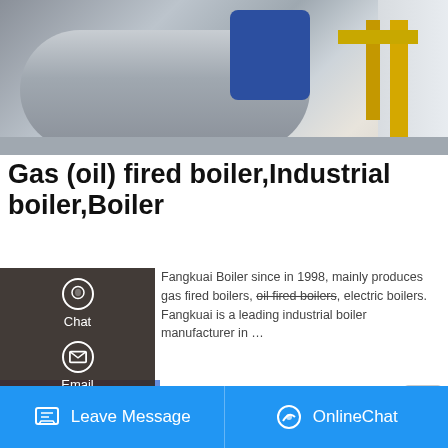[Figure (photo): Industrial gas/oil fired boiler with blue motor assembly and yellow gas pipes in a factory setting]
Gas (oil) fired boiler,Industrial boiler,Boiler
Fangkuai Boiler since in 1998, mainly produces gas fired boilers, oil fired boilers, electric boilers. Fangkuai is a leading industrial boiler manufacturer in …
[Figure (screenshot): Sidebar overlay with Chat, Email, Contact navigation items on dark background]
[Figure (screenshot): Get a Quote button in yellow/amber color]
[Figure (screenshot): Save Stickers on WhatsApp overlay with gradient pink-to-blue background with phone and emoji icons]
[Figure (screenshot): Bottom navigation bar in blue with Leave Message and OnlineChat buttons]